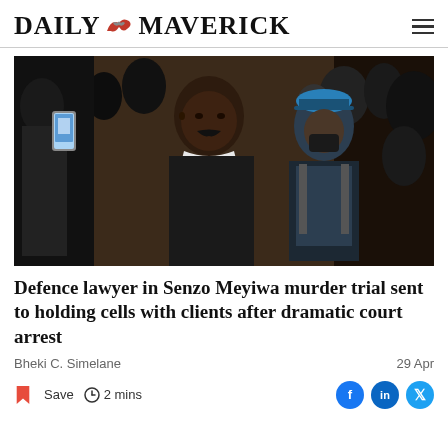DAILY MAVERICK
[Figure (photo): A man in a black sweater and white shirt, presumably a defence lawyer, being escorted by a police officer in blue uniform with a face mask. Another person in the background photographs the scene with a smartphone. Courtroom/corridor setting.]
Defence lawyer in Senzo Meyiwa murder trial sent to holding cells with clients after dramatic court arrest
Bheki C. Simelane
29 Apr
Save  2 mins